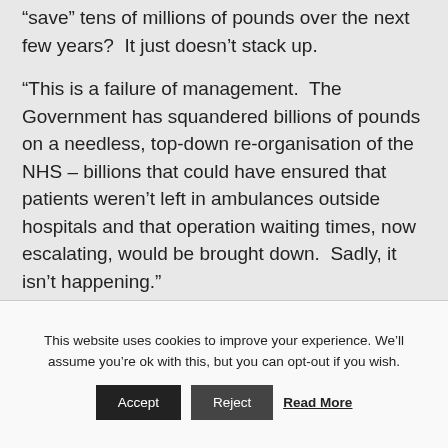“save” tens of millions of pounds over the next few years?  It just doesn’t stack up.
"This is a failure of management.  The Government has squandered billions of pounds on a needless, top-down re-organisation of the NHS – billions that could have ensured that patients weren’t left in ambulances outside hospitals and that operation waiting times, now escalating, would be brought down.  Sadly, it isn’t happening."
This website uses cookies to improve your experience. We’ll assume you’re ok with this, but you can opt-out if you wish.